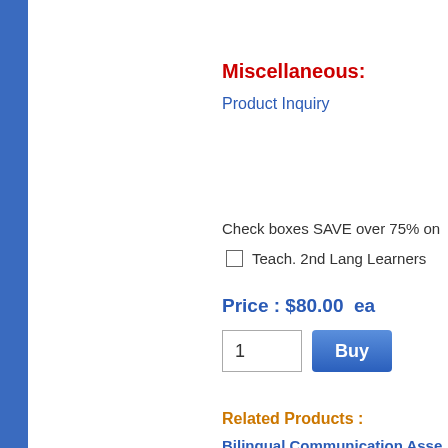Miscellaneous:
Product Inquiry
Check boxes SAVE over 75% on
Teach. 2nd Lang Learners
Price : $80.00  ea
Related Products :
Bilingual Communication Asse...
Bilingual Speech and Language...
Teaching Second Language Le...